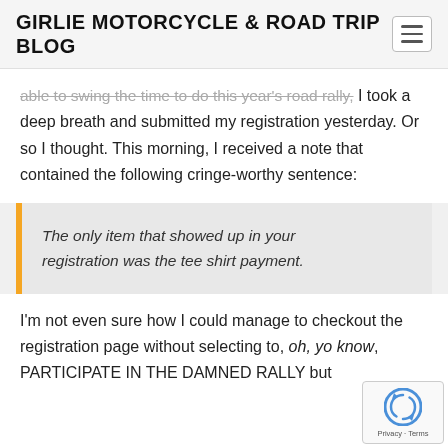GIRLIE MOTORCYCLE & ROAD TRIP BLOG
able to swing the time to do this year's road rally, I took a deep breath and submitted my registration yesterday. Or so I thought. This morning, I received a note that contained the following cringe-worthy sentence:
The only item that showed up in your registration was the tee shirt payment.
I'm not even sure how I could manage to checkout the registration page without selecting to, oh, you know, PARTICIPATE IN THE DAMNED RALLY but